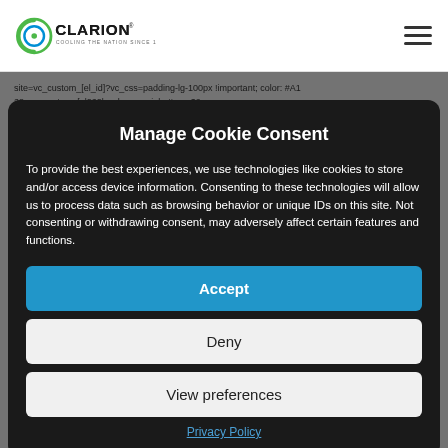[Figure (logo): Clarion logo with circular green C icon and text 'CLARION - COOLING THE NATION SINCE 1982']
Manage Cookie Consent
To provide the best experiences, we use technologies like cookies to store and/or access device information. Consenting to these technologies will allow us to process data such as browsing behavior or unique IDs on this site. Not consenting or withdrawing consent, may adversely affect certain features and functions.
Accept
Deny
View preferences
Privacy Policy